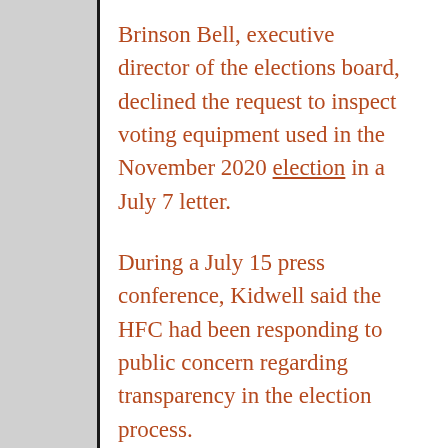Brinson Bell, executive director of the elections board, declined the request to inspect voting equipment used in the November 2020 election in a July 7 letter.
During a July 15 press conference, Kidwell said the HFC had been responding to public concern regarding transparency in the election process.
Before the denial, the HFC met with the BOE twice, and Kidwell added that Elections Systems & Software (ES&S), the largest election vendor for North